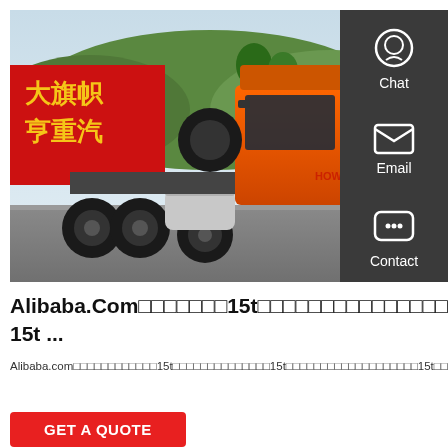[Figure (photo): An orange SINOTRUK HOWO heavy-duty tractor truck parked on a tarmac. A red Chinese billboard with yellow characters is visible on the left. Green trees and hills in the background. The truck is large and prominently orange.]
[Figure (infographic): Dark grey side panel with three icons and labels: Chat (headset icon), Email (envelope icon), Contact (speech bubble icon), each separated by a red horizontal line.]
Alibaba.Com□□□□□□□15t□□□□□□□□□□□□□□□□□ 15t ...
Alibaba.com□□□□□□□□□□□□15t□□□□□□□□□□□□□□15t□□□□□□□□□□□□□□□□□□□15t□□□□□□□□□□□□
GET A QUOTE